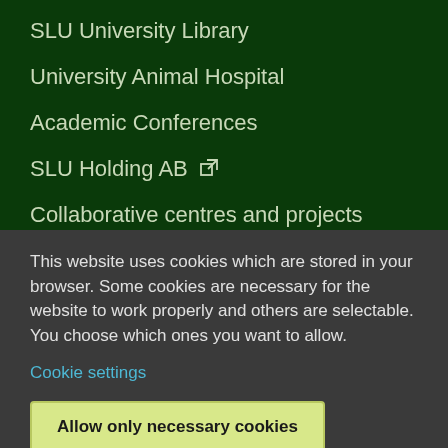SLU University Library
University Animal Hospital
Academic Conferences
SLU Holding AB ↗
Collaborative centres and projects
This website uses cookies which are stored in your browser. Some cookies are necessary for the website to work properly and others are selectable. You choose which ones you want to allow.
Cookie settings
Allow only necessary cookies
Allow all cookies